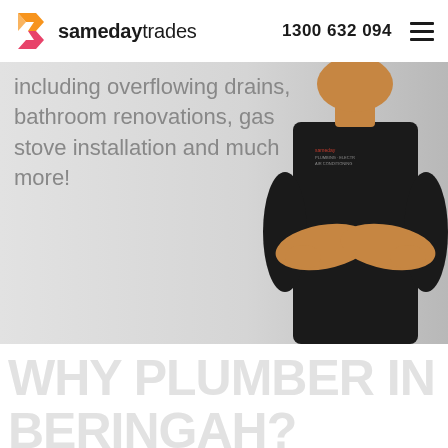samedaytrades  1300 632 094
[Figure (photo): Hero banner showing a tradesman in a black uniform with arms crossed, on a light grey background, with text overlay about plumbing services including overflowing drains, bathroom renovations, gas stove installation and much more]
including overflowing drains, bathroom renovations, gas stove installation and much more!
WHY PLUMBER IN BERINGAH?